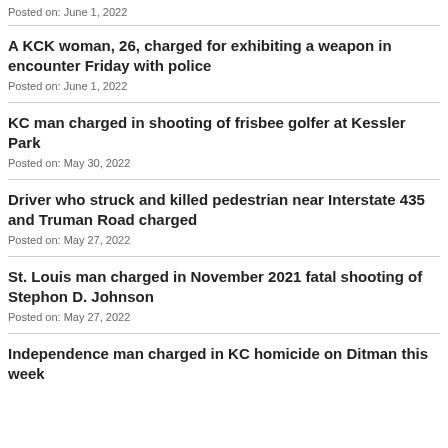Posted on: June 1, 2022
A KCK woman, 26, charged for exhibiting a weapon in encounter Friday with police
Posted on: June 1, 2022
KC man charged in shooting of frisbee golfer at Kessler Park
Posted on: May 30, 2022
Driver who struck and killed pedestrian near Interstate 435 and Truman Road charged
Posted on: May 27, 2022
St. Louis man charged in November 2021 fatal shooting of Stephon D. Johnson
Posted on: May 27, 2022
Independence man charged in KC homicide on Ditman this week